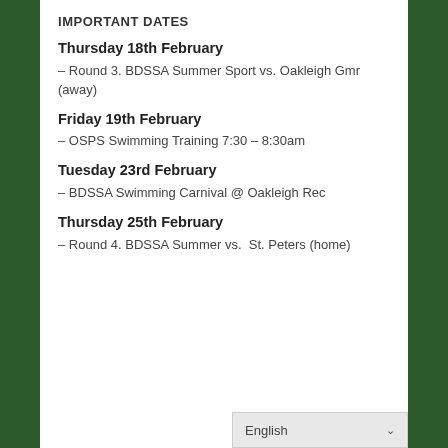IMPORTANT DATES
Thursday 18th February
– Round 3. BDSSA Summer Sport vs. Oakleigh Gmr (away)
Friday 19th February
– OSPS Swimming Training 7:30 – 8:30am
Tuesday 23rd February
– BDSSA Swimming Carnival @ Oakleigh Rec
Thursday 25th February
– Round 4. BDSSA Summer vs.  St. Peters (home)
English